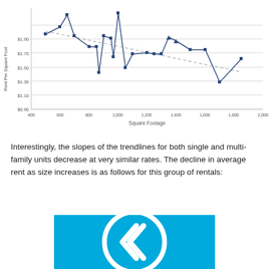[Figure (continuous-plot): Scatter/line plot of Rent Per Square Foot (y-axis, $0.90 to $1.90+) vs Square Footage (x-axis, 400 to 2000), showing a declining trendline (dashed) and connected data points forming a jagged line.]
Interestingly, the slopes of the trendlines for both single and multi-family units decrease at very similar rates.  The decline in average rent as size increases is as follows for this group of rentals:
[Figure (logo): Company logo on a blue background showing a circular white emblem with a stylized arrow/chevron design]